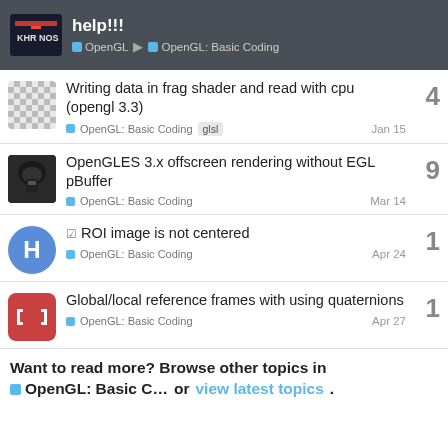help!!! | OpenGL | OpenGL: Basic Coding
Writing data in frag shader and read with cpu (opengl 3.3) — OpenGL: Basic Coding  glsl — Jan 15 — 4 replies
OpenGLES 3.x offscreen rendering without EGL pBuffer — OpenGL: Basic Coding — Mar 14 — 9 replies
✓ ROI image is not centered — OpenGL: Basic Coding — Apr 24 — 1 reply
Global/local reference frames with using quaternions — OpenGL: Basic Coding — Apr 27 — 1 reply
Want to read more? Browse other topics in OpenGL: Basic C... or view latest topics.